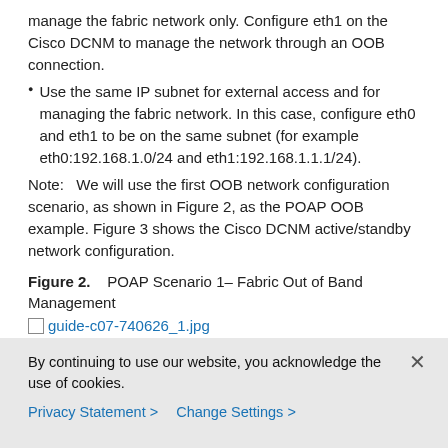manage the fabric network only. Configure eth1 on the Cisco DCNM to manage the network through an OOB connection.
Use the same IP subnet for external access and for managing the fabric network. In this case, configure eth0 and eth1 to be on the same subnet (for example eth0:192.168.1.0/24 and eth1:192.168.1.1.1/24).
Note:   We will use the first OOB network configuration scenario, as shown in Figure 2, as the POAP OOB example. Figure 3 shows the Cisco DCNM active/standby network configuration.
Figure 2.    POAP Scenario 1– Fabric Out of Band Management
[Figure (other): Placeholder image link: guide-c07-740626_1.jpg]
Figure 3.    Active/Standby Cisco DCNM Configuration
[Figure (other): Placeholder image link: guide-c07-740626_2.jpg]
By continuing to use our website, you acknowledge the use of cookies.
Privacy Statement >   Change Settings >